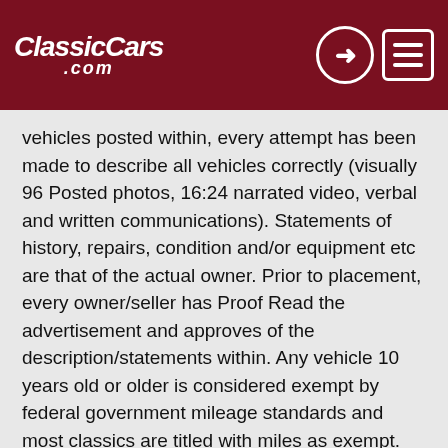ClassicCars.com
vehicles posted within, every attempt has been made to describe all vehicles correctly (visually 96 Posted photos, 16:24 narrated video, verbal and written communications). Statements of history, repairs, condition and/or equipment etc are that of the actual owner. Prior to placement, every owner/seller has Proof Read the advertisement and approves of the description/statements within. Any vehicle 10 years old or older is considered exempt by federal government mileage standards and most classics are titled with miles as exempt. We will be happy to answer all questions from a serious buyer/bidder and you do have a right to an in person inspection prior to full payment. Thank You